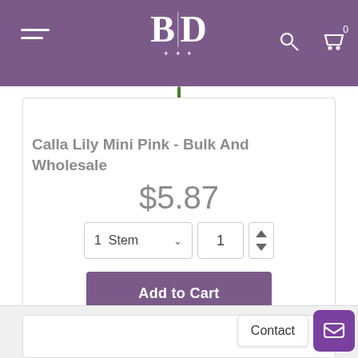BD [logo] — Navigation header with menu, logo, search, and cart icons
[Figure (photo): Green flower stem visible at top center of product listing]
Calla Lily Mini Pink - Bulk And Wholesale
$5.87
1 Stem [dropdown] | 1 [quantity input with up/down arrows]
Add to Cart
Customize!
Contact